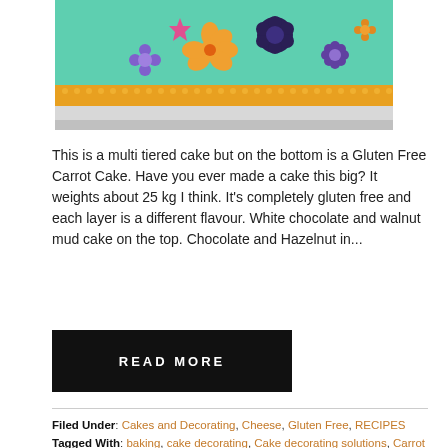[Figure (photo): Photo of a multi-tiered decorated cake with green fondant and colorful flower decorations in purple, orange, and pink on a silver board, partially cropped from the top.]
This is a multi tiered cake but on the bottom is a Gluten Free Carrot Cake. Have you ever made a cake this big? It weights about 25 kg I think. It's completely gluten free and each layer is a different flavour. White chocolate and walnut mud cake on the top. Chocolate and Hazelnut in...
READ MORE
Filed Under: Cakes and Decorating, Cheese, Gluten Free, RECIPES
Tagged With: baking, cake decorating, Cake decorating solutions, Carrot cake, Cream cheese icing, gluten free, Gluten Free carrot cake, glutenfree